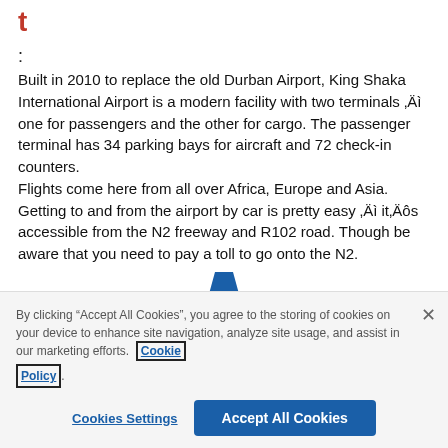t
:
Built in 2010 to replace the old Durban Airport, King Shaka International Airport is a modern facility with two terminals „Äì one for passengers and the other for cargo. The passenger terminal has 34 parking bays for aircraft and 72 check-in counters.
Flights come here from all over Africa, Europe and Asia. Getting to and from the airport by car is pretty easy „Äì it„Äôs accessible from the N2 freeway and R102 road. Though be aware that you need to pay a toll to go onto the N2.
By clicking “Accept All Cookies”, you agree to the storing of cookies on your device to enhance site navigation, analyze site usage, and assist in our marketing efforts. Cookie Policy
Cookies Settings
Accept All Cookies